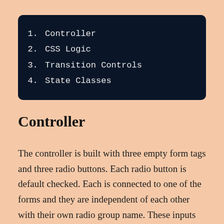1. Controller
2. CSS Logic
3. Transition Controls
4. State Classes
Controller
The controller is built with three empty form tags and three radio buttons. Each radio button is default checked. Each is connected to one of the forms and they are independent of each other with their own radio group name. These inputs are hidden with `display:none` because they are are not directly changed or seen. The state of these three make the machine state. This controller is